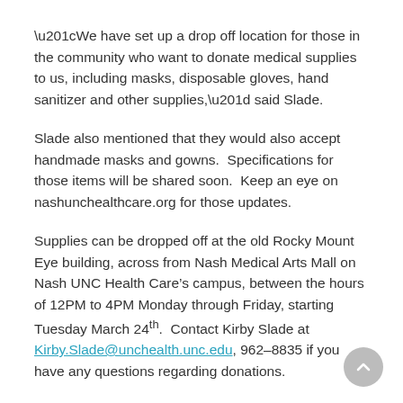“We have set up a drop off location for those in the community who want to donate medical supplies to us, including masks, disposable gloves, hand sanitizer and other supplies,” said Slade.
Slade also mentioned that they would also accept handmade masks and gowns.  Specifications for those items will be shared soon.  Keep an eye on nashunchealthcare.org for those updates.
Supplies can be dropped off at the old Rocky Mount Eye building, across from Nash Medical Arts Mall on Nash UNC Health Care’s campus, between the hours of 12PM to 4PM Monday through Friday, starting Tuesday March 24th.  Contact Kirby Slade at Kirby.Slade@unchealth.unc.edu, 962-8835 if you have any questions regarding donations.